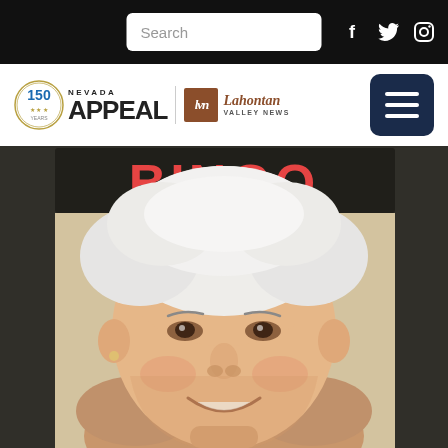Search | Nevada Appeal / Lahontan Valley News website header with social icons (Facebook, Twitter, Instagram)
[Figure (logo): Nevada Appeal 150th anniversary logo combined with Lahontan Valley News logo and hamburger menu button]
[Figure (photo): Portrait photo of an elderly woman with short white hair smiling, with a BINGO sign visible in the background]